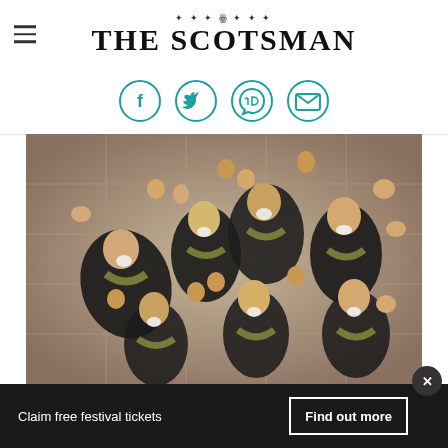THE SCOTSMAN
[Figure (logo): The Scotsman newspaper logo with decorative ornament above the title text]
[Figure (infographic): Four social sharing icons in teal circles: Facebook, Twitter, WhatsApp, Email]
[Figure (photo): Aerial view of a group of young people in academic gowns (black with gold/green scarves) celebrating with arms raised, viewed from above on a stone paved surface]
Claim free festival tickets
Find out more